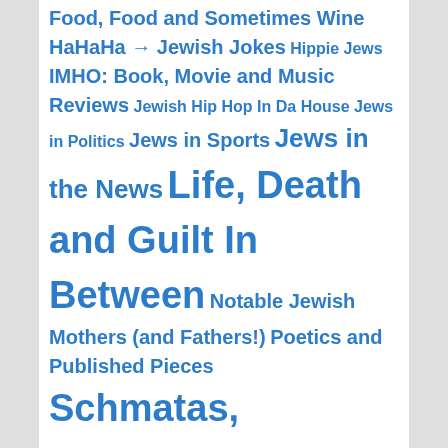Food, Food and Sometimes Wine
HaHaHa → Jewish Jokes
Hippie Jews
IMHO: Book, Movie and Music Reviews
Jewish Hip Hop In Da House
Jews in Politics
Jews in Sports
Jews in the News
Life, Death and Guilt In Between
Notable Jewish Mothers (and Fathers!)
Poetics and Published Pieces
Schmatas, Tsotchkes and Chozzerai
Southern Social Science
The Far Reaches of the Diaspora